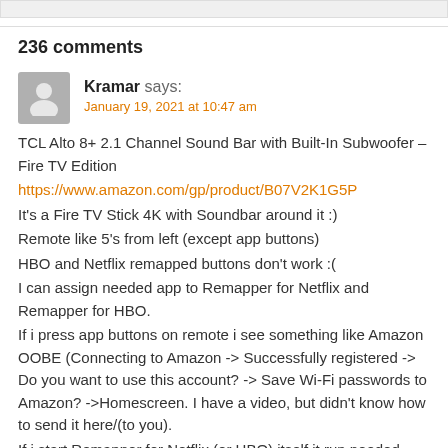236 comments
Kramar says:
January 19, 2021 at 10:47 am
TCL Alto 8+ 2.1 Channel Sound Bar with Built-In Subwoofer – Fire TV Edition
https://www.amazon.com/gp/product/B07V2K1G5P
It's a Fire TV Stick 4K with Soundbar around it :)
Remote like 5's from left (except app buttons)
HBO and Netflix remapped buttons don't work :(
I can assign needed app to Remapper for Netflix and Remapper for HBO.
If i press app buttons on remote i see something like Amazon OOBE (Connecting to Amazon -> Successfully registered -> Do you want to use this account? -> Save Wi-Fi passwords to Amazon? ->Homescreen. I have a video, but didn't know how to send it here/(to you).
If i start Remapper for Netflix (or HBO) itself it run needed app.
Thank you for all you work!